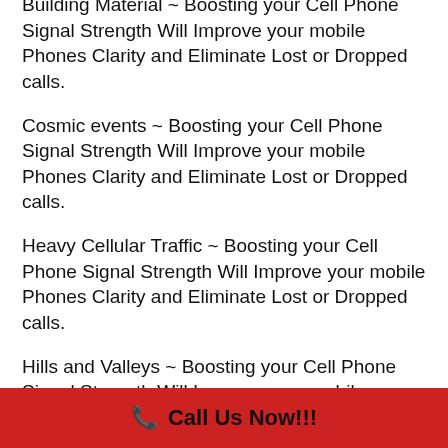Building Material ~ Boosting your Cell Phone Signal Strength Will Improve your mobile Phones Clarity and Eliminate Lost or Dropped calls.
Cosmic events ~ Boosting your Cell Phone Signal Strength Will Improve your mobile Phones Clarity and Eliminate Lost or Dropped calls.
Heavy Cellular Traffic ~ Boosting your Cell Phone Signal Strength Will Improve your mobile Phones Clarity and Eliminate Lost or Dropped calls.
Hills and Valleys ~ Boosting your Cell Phone Signal Strength Will Improve your mobile Phones Clarity and Eliminate Lost or Dropped
📞 Call Us Now!!!